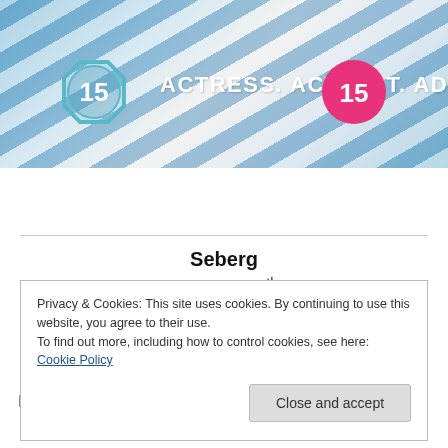[Figure (photo): Movie banner image for 'Seberg' showing a person in a blue and white striped dress, with age rating badge '15' on the left (octagonal, teal/blue) and a pink circular '15' badge on the right. White bold text reads 'ACTRESS. ACTIVIST. ADVERSARY.']
Seberg
Release Date: 13th July
Distributor: Dazzler Media
Format: DVD
Contact: Distributor / PR
Inspired by real events in the life of French New Wave
Privacy & Cookies: This site uses cookies. By continuing to use this website, you agree to their use.
To find out more, including how to control cookies, see here: Cookie Policy